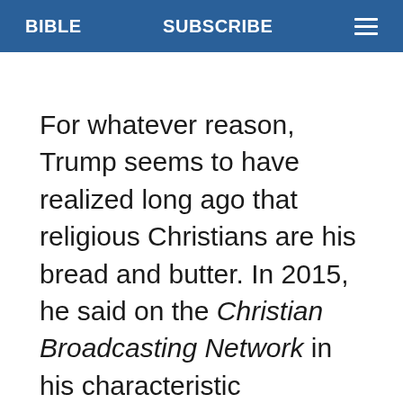BIBLE   SUBSCRIBE   ☰
For whatever reason, Trump seems to have realized long ago that religious Christians are his bread and butter. In 2015, he said on the Christian Broadcasting Network in his characteristic bombastic manner, "Believe me, if I run and I win, I will be